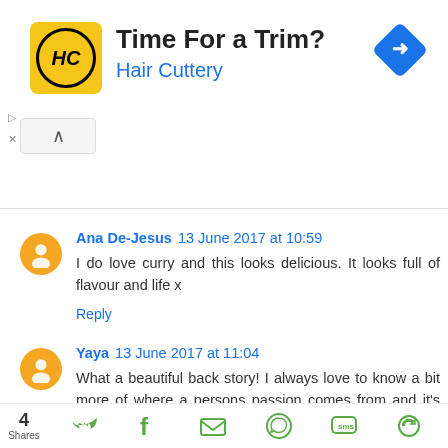[Figure (infographic): Hair Cuttery advertisement banner with logo, 'Time For a Trim?' heading, 'Hair Cuttery' subheading, and blue diamond directional icon]
Ana De-Jesus 13 June 2017 at 10:59
I do love curry and this looks delicious. It looks full of flavour and life x
Reply
Yaya 13 June 2017 at 11:04
What a beautiful back story! I always love to know a bit more of where a persons passion comes from and it's beautiful to see that your dad had a big influence. The recipe looks mouthwatering, too. x
Reply
4 Shares